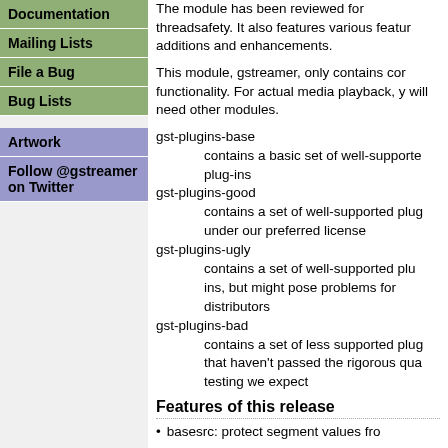Documentation
Mailing Lists
File a Bug
Bug Lists
Artwork
Follow @gstreamer on Twitter
The module has been reviewed for threadsafety. It also features various feature additions and enhancements.
This module, gstreamer, only contains core functionality. For actual media playback, you will need other modules.
gst-plugins-base
    contains a basic set of well-supported plug-ins
gst-plugins-good
    contains a set of well-supported plug-ins under our preferred license
gst-plugins-ugly
    contains a set of well-supported plug-ins, but might pose problems for distributors
gst-plugins-bad
    contains a set of less supported plug-ins that haven't passed the rigorous quality testing we expect
Features of this release
basesrc: protect segment values from